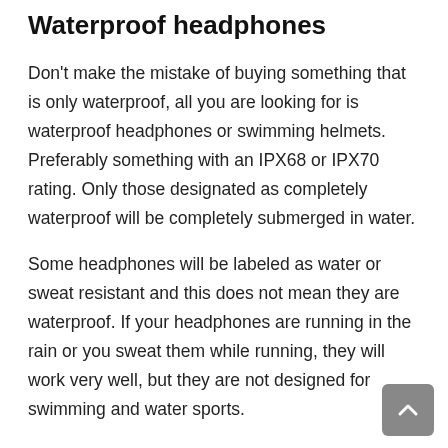Waterproof headphones
Don't make the mistake of buying something that is only waterproof, all you are looking for is waterproof headphones or swimming helmets. Preferably something with an IPX68 or IPX70 rating. Only those designated as completely waterproof will be completely submerged in water.
Some headphones will be labeled as water or sweat resistant and this does not mean they are waterproof. If your headphones are running in the rain or you sweat them while running, they will work very well, but they are not designed for swimming and water sports.